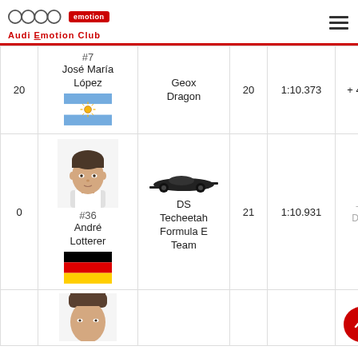Audi Emotion Club
| Pts | Driver | Team | Laps | Time | Gap |
| --- | --- | --- | --- | --- | --- |
| 20 | #7 José María López | Geox Dragon | 20 | 1:10.373 | +46. |
| 0 | #36 André Lotterer | DS Techeetah Formula E Team | 21 | 1:10.931 | DN |
|  |  |  |  |  |  |